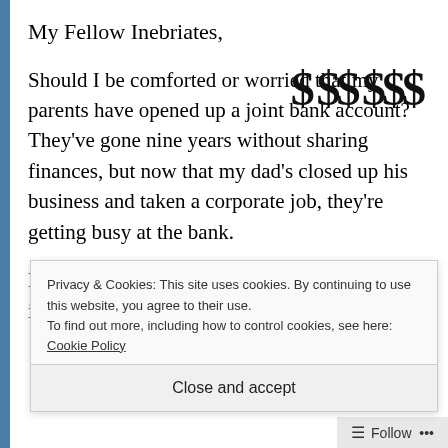My Fellow Inebriates,
Should I be comforted or worried that my parents have opened up a joint bank account? They've gone nine years without sharing finances, but now that my dad's closed up his business and taken a corporate job, they're getting busy at the bank.
[Figure (illustration): Dollar signs of varying sizes: $ $$ $$$$ $ arranged decoratively]
Does a shared bank account imply that a shift in
Privacy & Cookies: This site uses cookies. By continuing to use this website, you agree to their use.
To find out more, including how to control cookies, see here: Cookie Policy
Close and accept